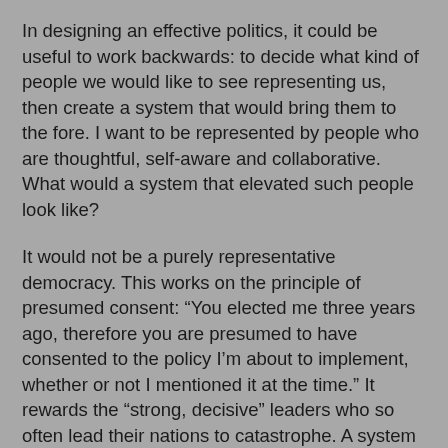In designing an effective politics, it could be useful to work backwards: to decide what kind of people we would like to see representing us, then create a system that would bring them to the fore. I want to be represented by people who are thoughtful, self-aware and collaborative. What would a system that elevated such people look like?
It would not be a purely representative democracy. This works on the principle of presumed consent: “You elected me three years ago, therefore you are presumed to have consented to the policy I’m about to implement, whether or not I mentioned it at the time.” It rewards the “strong, decisive” leaders who so often lead their nations to catastrophe. A system that tempers representative democracy with participative democracy – citizens’ assemblies, participatory budgeting, the co-creation of public policy – is more likely to reward responsive and considerate politicians. Proportional